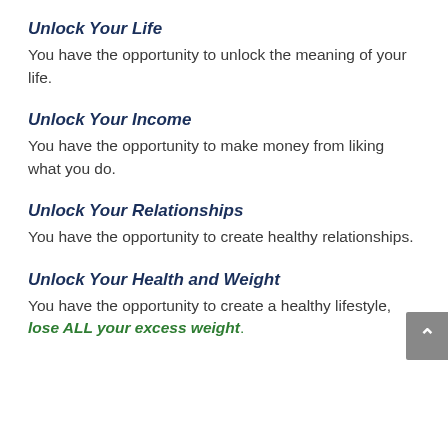Unlock Your Life
You have the opportunity to unlock the meaning of your life.
Unlock Your Income
You have the opportunity to make money from liking what you do.
Unlock Your Relationships
You have the opportunity to create healthy relationships.
Unlock Your Health and Weight
You have the opportunity to create a healthy lifestyle, lose ALL your excess weight.